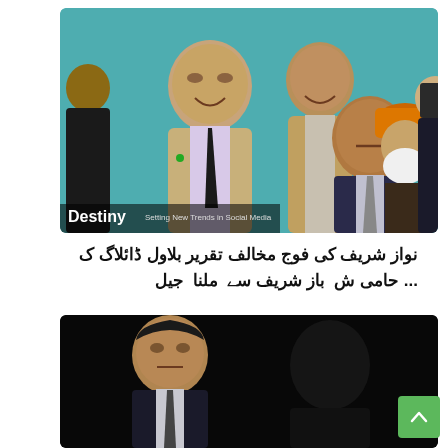[Figure (photo): Group photo of Pakistani political leaders including Shahbaz Sharif in foreground with dark tie, Nawaz Sharif in background with serious expression, Fazlur Rehman in orange turban, and others smiling. Destiny watermark at bottom left.]
نواز شریف کی فوج مخالف تقریر بلاول ڈائلاگ ک ... حامی شاباش باز شریف سے ملنا جیل
[Figure (photo): Dark background photo of a Pakistani political figure (Imran Khan) in a suit looking serious.]